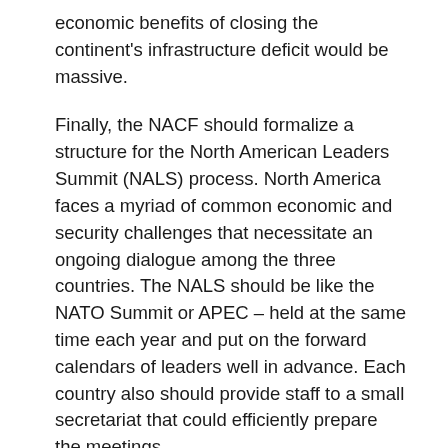economic benefits of closing the continent's infrastructure deficit would be massive.
Finally, the NACF should formalize a structure for the North American Leaders Summit (NALS) process. North America faces a myriad of common economic and security challenges that necessitate an ongoing dialogue among the three countries. The NALS should be like the NATO Summit or APEC – held at the same time each year and put on the forward calendars of leaders well in advance. Each country also should provide staff to a small secretariat that could efficiently prepare the meetings.
North America retains all of the necessary assets to be the world's most competitive region for years to come. Two decades ago, NAFTA harnessed the competitive energies of Canada, the United States and Mexico by opening markets. Today, competitiveness requires not just economic freedom, but frameworks for ensuring that everyone is playing by the rules, economic value is protected and goods can efficiently get to market. Let's use the new NAFTA to deliver the reinvention...